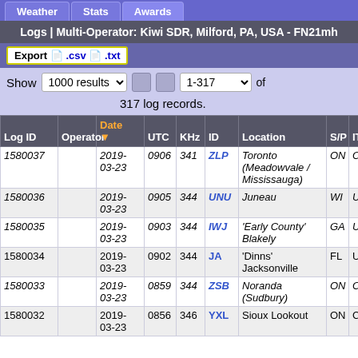Weather | Stats | Awards
Logs | Multi-Operator: Kiwi SDR, Milford, PA, USA - FN21mh
Export .csv .txt
Show 1000 results 1-317 of 317 log records.
| Log ID | Operator | Date | UTC | KHz | ID | Location | S/P | ITU | Re |
| --- | --- | --- | --- | --- | --- | --- | --- | --- | --- |
| 1580037 |  | 2019-03-23 | 0906 | 341 | ZLP | Toronto (Meadowvale / Mississauga) | ON | CAN | na |
| 1580036 |  | 2019-03-23 | 0905 | 344 | UNU | Juneau | WI | USA | na |
| 1580035 |  | 2019-03-23 | 0903 | 344 | IWJ | 'Early County' Blakely | GA | USA | na |
| 1580034 |  | 2019-03-23 | 0902 | 344 | JA | 'Dinns' Jacksonville | FL | USA | na |
| 1580033 |  | 2019-03-23 | 0859 | 344 | ZSB | Noranda (Sudbury) | ON | CAN | na |
| 1580032 |  | 2019-03-23 | 0856 | 346 | YXL | Sioux Lookout | ON | CAN | na |